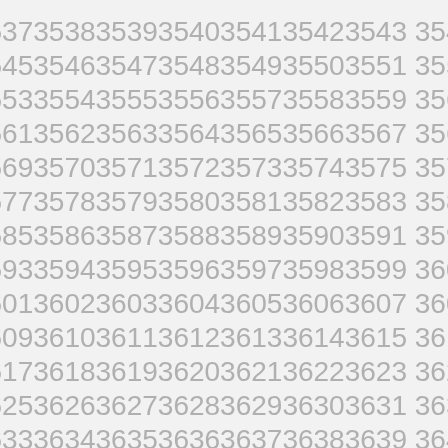3537 3538 3539 3540 3541 3542 3543 3544
3545 3546 3547 3548 3549 3550 3551 3552
3553 3554 3555 3556 3557 3558 3559 3560
3561 3562 3563 3564 3565 3566 3567 3568
3569 3570 3571 3572 3573 3574 3575 3576
3577 3578 3579 3580 3581 3582 3583 3584
3585 3586 3587 3588 3589 3590 3591 3592
3593 3594 3595 3596 3597 3598 3599 3600
3601 3602 3603 3604 3605 3606 3607 3608
3609 3610 3611 3612 3613 3614 3615 3616
3617 3618 3619 3620 3621 3622 3623 3624
3625 3626 3627 3628 3629 3630 3631 3632
3633 3634 3635 3636 3637 3638 3639 3640